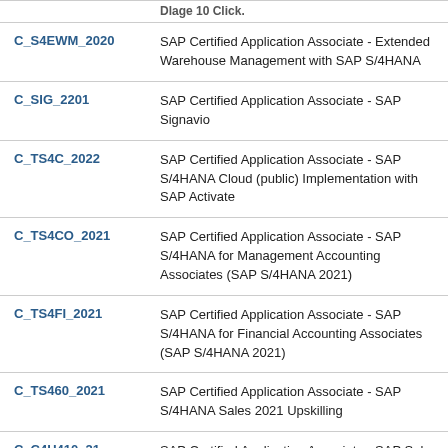| Code | Description |
| --- | --- |
| C_S4EWM_2020 | SAP Certified Application Associate - Extended Warehouse Management with SAP S/4HANA |
| C_SIG_2201 | SAP Certified Application Associate - SAP Signavio |
| C_TS4C_2022 | SAP Certified Application Associate - SAP S/4HANA Cloud (public) Implementation with SAP Activate |
| C_TS4CO_2021 | SAP Certified Application Associate - SAP S/4HANA for Management Accounting Associates (SAP S/4HANA 2021) |
| C_TS4FI_2021 | SAP Certified Application Associate - SAP S/4HANA for Financial Accounting Associates (SAP S/4HANA 2021) |
| C_TS460_2021 | SAP Certified Application Associate - SAP S/4HANA Sales 2021 Upskilling |
| C_C4H410_21 | SAP Certified Application Associate - SAP Sales Cloud 2111 |